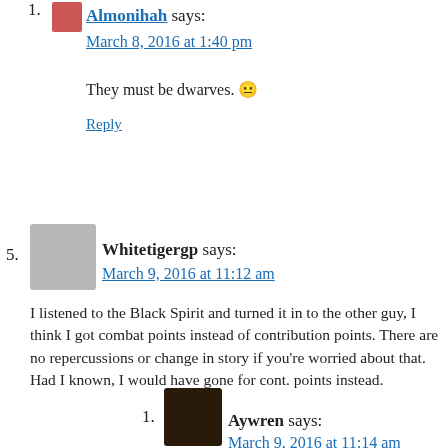1. Almonihah says: March 8, 2016 at 1:40 pm
They must be dwarves. 😐
Reply
5. Whitetigergp says: March 9, 2016 at 11:12 am
I listened to the Black Spirit and turned it in to the other guy, I think I got combat points instead of contribution points. There are no repercussions or change in story if you're worried about that. Had I known, I would have gone for cont. points instead.
Anyroad, I like how everyone's play style is different in this game. My own is kind of a mess of 'do quests, get contribution points, connect nodes, gain lots of wisdom' to 'learning to cook, housing, fishing on the side' and eventually I want to get into horse breeding.
Reply
1. Aywren says: March 9, 2016 at 11:14 am